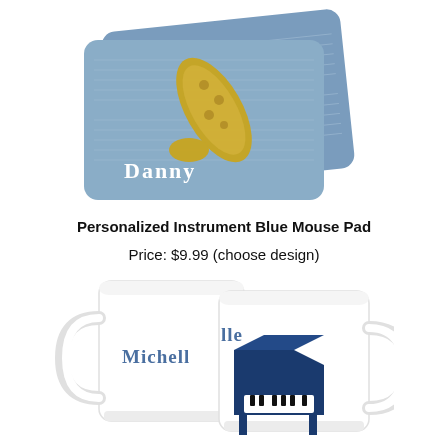[Figure (photo): Two blue mouse pads with music sheet background. One has a saxophone and reads 'Danny', the other has a treble clef.]
Personalized Instrument Blue Mouse Pad
Price: $9.99 (choose design)
[Figure (photo): Two white ceramic mugs side by side. Both display the name 'Michelle'. The right mug also shows a grand piano illustration in blue.]